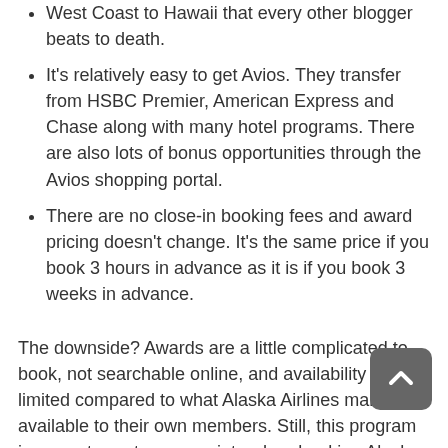West Coast to Hawaii that every other blogger beats to death.
It's relatively easy to get Avios. They transfer from HSBC Premier, American Express and Chase along with many hotel programs. There are also lots of bonus opportunities through the Avios shopping portal.
There are no close-in booking fees and award pricing doesn't change. It's the same price if you book 3 hours in advance as it is if you book 3 weeks in advance.
The downside? Awards are a little complicated to book, not searchable online, and availability is limited compared to what Alaska Airlines makes available to their own members. Still, this program is a great way to save points when booking Alaska Airlines flights.
Korean Air Skypass
Hardly anyone writes about using Korean Air Skypass for booking Alaska Airlines flights, and I think it's probably because almost nobody does it. Also, there is a lot of